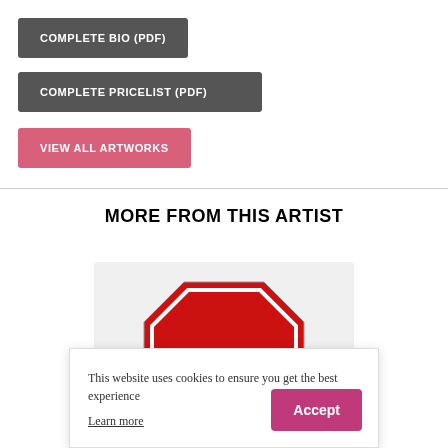COMPLETE BIO (PDF)
COMPLETE PRICELIST (PDF)
VIEW ALL ARTWORKS
MORE FROM THIS ARTIST
[Figure (photo): Artwork image showing a red stop sign variant, partially visible]
This website uses cookies to ensure you get the best experience
Learn more
Accept